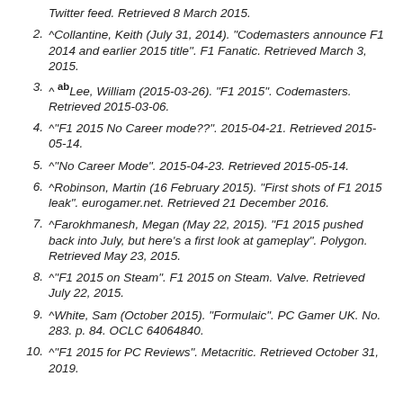Twitter feed. Retrieved 8 March 2015.
2. ^Collantine, Keith (July 31, 2014). "Codemasters announce F1 2014 and earlier 2015 title". F1 Fanatic. Retrieved March 3, 2015.
3. ^ ab Lee, William (2015-03-26). "F1 2015". Codemasters. Retrieved 2015-03-06.
4. ^"F1 2015 No Career mode??". 2015-04-21. Retrieved 2015-05-14.
5. ^"No Career Mode". 2015-04-23. Retrieved 2015-05-14.
6. ^Robinson, Martin (16 February 2015). "First shots of F1 2015 leak". eurogamer.net. Retrieved 21 December 2016.
7. ^Farokhmanesh, Megan (May 22, 2015). "F1 2015 pushed back into July, but here's a first look at gameplay". Polygon. Retrieved May 23, 2015.
8. ^"F1 2015 on Steam". F1 2015 on Steam. Valve. Retrieved July 22, 2015.
9. ^White, Sam (October 2015). "Formulaic". PC Gamer UK. No. 283. p. 84. OCLC 64064840.
10. ^"F1 2015 for PC Reviews". Metacritic. Retrieved October 31, 2019.